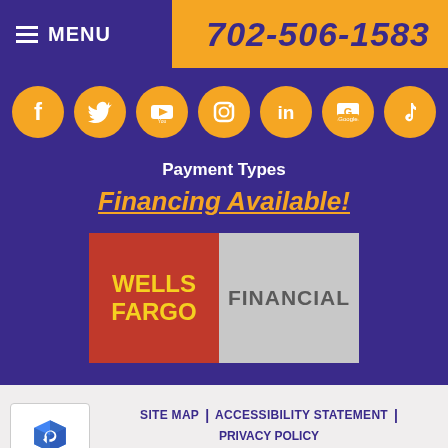MENU | 702-506-1583
[Figure (infographic): Row of 7 orange circular social media icons: Facebook, Twitter, YouTube, Instagram, LinkedIn, Google, TikTok]
Payment Types
Financing Available!
[Figure (logo): Wells Fargo Financial logo: red left panel with yellow WELLS FARGO text, gray right panel with FINANCIAL text]
SITE MAP | ACCESSIBILITY STATEMENT | PRIVACY POLICY
iMarket Solutions: Dedicated to Contractor Success